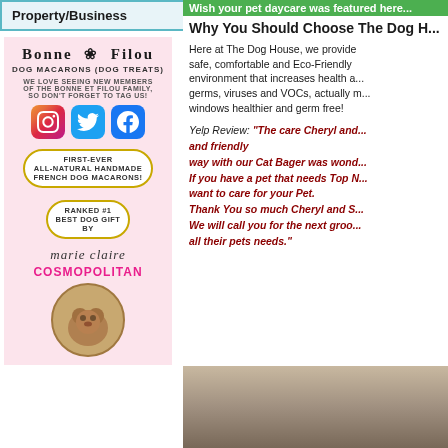Property/Business
[Figure (illustration): Bonne et Filou dog macarons advertisement with social media icons, badges, Marie Claire and Cosmopolitan logos, and a dog photo]
Wish your pet daycare was featured here...
Why You Should Choose The Dog H...
Here at The Dog House, we provide safe, comfortable and Eco-Friendly environment that increases health a... germs, viruses and VOCs, actually m... windows healthier and germ free!
Yelp Review: "The care Cheryl and... and friendly way with our Cat Bager was wond... If you have a pet that needs Top N... want to care for your Pet. Thank You so much Cheryl and S... We will call you for the next groo... all their pets needs."
[Figure (photo): Photo of a person in a room, partially visible at the bottom right]